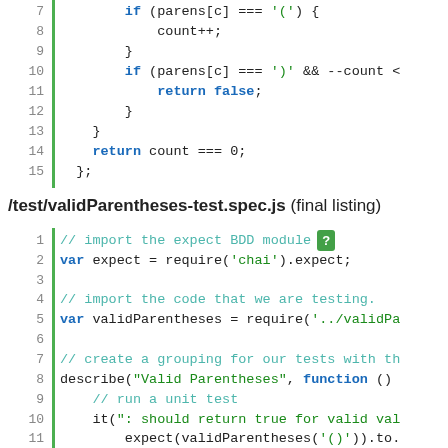[Figure (screenshot): Code snippet lines 7-15 showing a JavaScript function with if statements checking parens array, count++, return false, and return count === 0]
/test/validParentheses-test.spec.js (final listing)
[Figure (screenshot): Code snippet lines 1-17 of a JavaScript test file importing chai expect, importing validParentheses, creating a describe block for Valid Parentheses, and running unit tests with it() blocks]